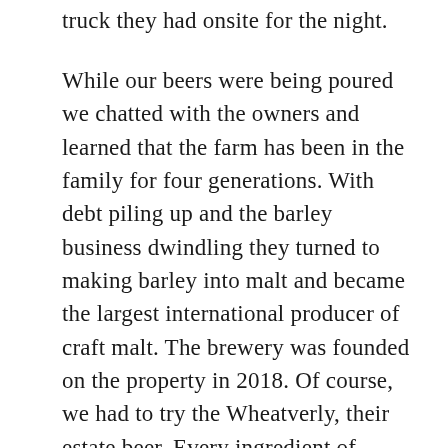truck they had onsite for the night.
While our beers were being poured we chatted with the owners and learned that the farm has been in the family for four generations. With debt piling up and the barley business dwindling they turned to making barley into malt and became the largest international producer of craft malt. The brewery was founded on the property in 2018. Of course, we had to try the Wheatverly, their estate beer. Every ingredient of which; water, yeast, hops and malt all come from their property. It didn’t disappoint, it tasted fresh and slightly fruity.